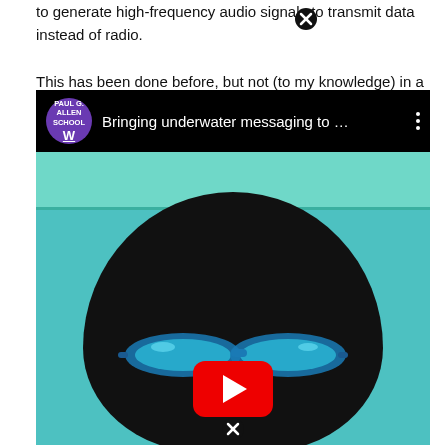to generate high-frequency audio signals to transmit data instead of radio. This has been done before, but not (to my knowledge) in a simple, self-correcting way that any smartphone can use.
[Figure (screenshot): YouTube video thumbnail showing a person underwater wearing blue swimming goggles. The video title reads 'Bringing underwater messaging to ...' with the Paul G. Allen School channel avatar. A YouTube play button is overlaid at the bottom center.]